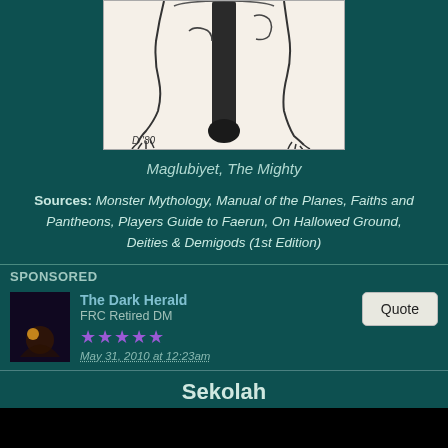[Figure (illustration): Pencil sketch illustration of a creature/deity lower body with clawed feet and a large dark pillar-like object, marked 'D 80' at bottom left]
Maglubiyet, The Mighty
Sources: Monster Mythology, Manual of the Planes, Faiths and Pantheons, Players Guide to Faerun, On Hallowed Ground, Deities & Demigods (1st Edition)
SPONSORED
The Dark Herald
FRC Retired DM
★★★★★
May 31, 2010 at 12:23am
Sekolah